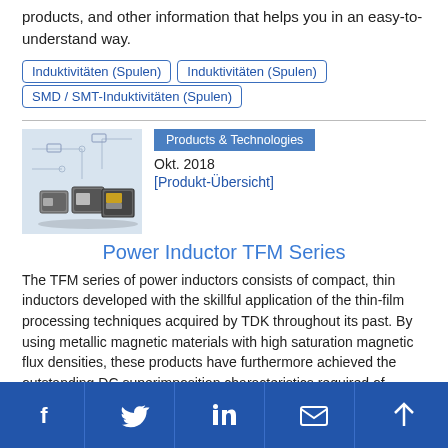products, and other information that helps you in an easy-to-understand way.
Induktivitäten (Spulen)
Induktivitäten (Spulen)
SMD / SMT-Induktivitäten (Spulen)
[Figure (photo): Photo of SMD power inductors on a circuit board schematic background]
Products & Technologies
Okt. 2018
[Produkt-Übersicht]
Power Inductor TFM Series
The TFM series of power inductors consists of compact, thin inductors developed with the skillful application of the thin-film processing techniques acquired by TDK throughout its past. By using metallic magnetic materials with high saturation magnetic flux densities, these products have furthermore achieved the outstanding DC superimposition characteristics required of power inductors. This article clearly describes and explains valuable information for our customers related to the products in the TFM series, including their structures, features and uses.